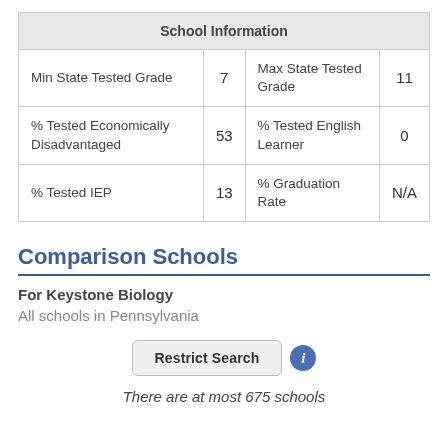| School Information |  |  |  |
| --- | --- | --- | --- |
| Min State Tested Grade | 7 | Max State Tested Grade | 11 |
| % Tested Economically Disadvantaged | 53 | % Tested English Learner | 0 |
| % Tested IEP | 13 | % Graduation Rate | N/A |
Comparison Schools
For Keystone Biology
All schools in Pennsylvania
[Figure (other): Restrict Search button with info icon]
There are at most 675 schools